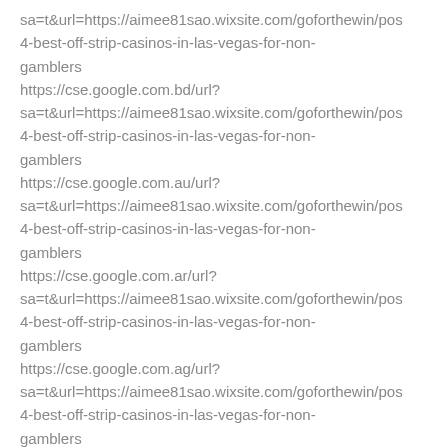sa=t&url=https://aimee81sao.wixsite.com/goforthewin/pos4-best-off-strip-casinos-in-las-vegas-for-non-gamblers
https://cse.google.com.bd/url?sa=t&url=https://aimee81sao.wixsite.com/goforthewin/pos4-best-off-strip-casinos-in-las-vegas-for-non-gamblers
https://cse.google.com.au/url?sa=t&url=https://aimee81sao.wixsite.com/goforthewin/pos4-best-off-strip-casinos-in-las-vegas-for-non-gamblers
https://cse.google.com.ar/url?sa=t&url=https://aimee81sao.wixsite.com/goforthewin/pos4-best-off-strip-casinos-in-las-vegas-for-non-gamblers
https://cse.google.com.ag/url?sa=t&url=https://aimee81sao.wixsite.com/goforthewin/pos4-best-off-strip-casinos-in-las-vegas-for-non-gamblers
https://cse.google.co.zm/url?